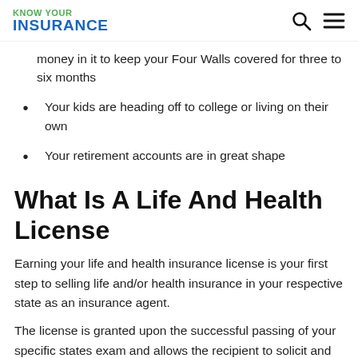KNOW YOUR INSURANCE
money in it to keep your Four Walls covered for three to six months
Your kids are heading off to college or living on their own
Your retirement accounts are in great shape
What Is A Life And Health License
Earning your life and health insurance license is your first step to selling life and/or health insurance in your respective state as an insurance agent.
The license is granted upon the successful passing of your specific states exam and allows the recipient to solicit and health and/or health and life insurance with